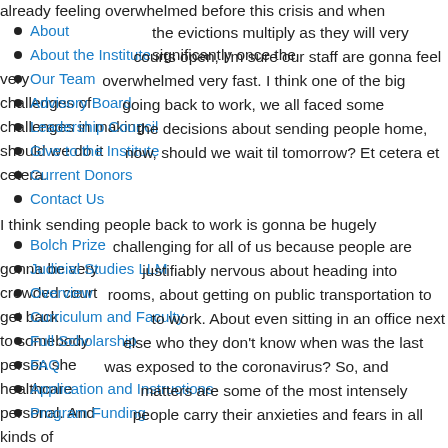already feeling overwhelmed before this crisis and when the evictions multiply as they will very significantly once the courts open, I'm sure our staff are gonna feel very overwhelmed very fast. I think one of the big challenges of going back to work, we all faced some challenges in making the decisions about sending people home, should we do it now, should we wait til tomorrow? Et cetera et cetera.
About
About the Institute
Our Team
Advisory Board
Leadership Council
Give to the Institute
Current Donors
Contact Us
I think sending people back to work is gonna be hugely challenging for all of us because people are gonna be very justifiably nervous about heading into crowded court rooms, about getting on public transportation to get back to work. About even sitting in an office next to somebody else who they don't know when was the last person she was exposed to the coronavirus? So, and healthcare matters are some of the most intensely personal. And people carry their anxieties and fears in all kinds of
Bolch Prize
Judicial Studies LLM
Overview
Curriculum and Faculty
Full Scholarship
FAQ
Application and Instructions
Program Funding